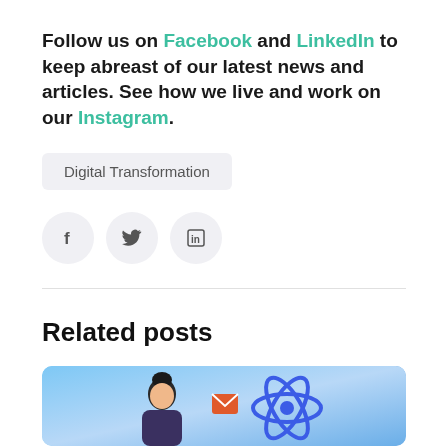Follow us on Facebook and LinkedIn to keep abreast of our latest news and articles. See how we live and work on our Instagram.
Digital Transformation
[Figure (other): Three circular social media icon buttons: Facebook (f), Twitter (bird), LinkedIn (in)]
Related posts
[Figure (illustration): Illustration with blue gradient background showing a person and an atomic/molecular symbol graphic]